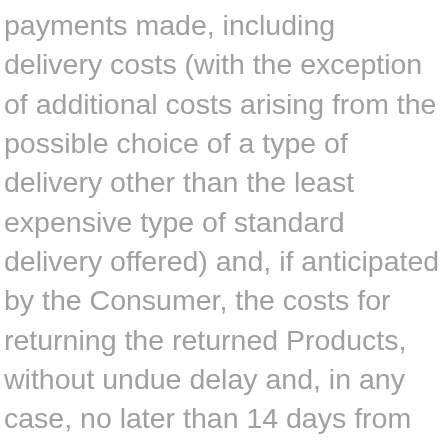payments made, including delivery costs (with the exception of additional costs arising from the possible choice of a type of delivery other than the least expensive type of standard delivery offered) and, if anticipated by the Consumer, the costs for returning the returned Products, without undue delay and, in any case, no later than 14 days from the exercise of the withdrawal. These refunds will be made using the same payment method used by the Consumer for the initial transaction, unless the Consumer requests a refund on a different means of payment, in which case any additional costs